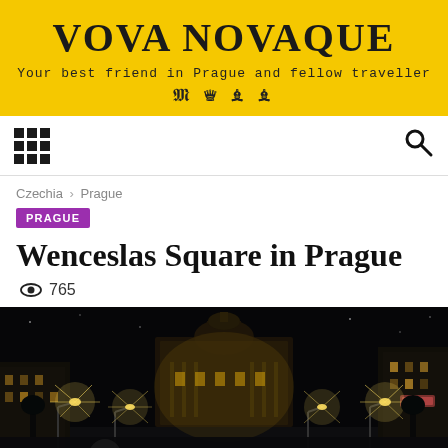VOVA NOVAQUE — Your best friend in Prague and fellow traveller
Czechia › Prague
PRAGUE
Wenceslas Square in Prague
👁 765
[Figure (photo): Night photograph of Wenceslas Square in Prague showing the illuminated National Museum building at the end of the square with street lights and surrounding buildings lit up against a dark sky]